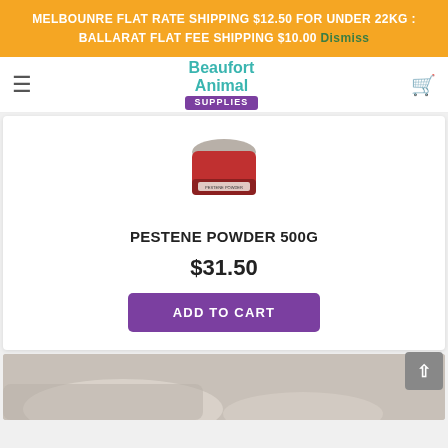MELBOUNRE FLAT RATE SHIPPING $12.50 FOR UNDER 22KG : BALLARAT FLAT FEE SHIPPING $10.00 Dismiss
[Figure (logo): Beaufort Animal Supplies logo with teal text and purple banner]
[Figure (photo): Product image of Pestene Powder 500g container]
PESTENE POWDER 500G
$31.50
ADD TO CART
[Figure (photo): Partial image of another product at the bottom of the page]